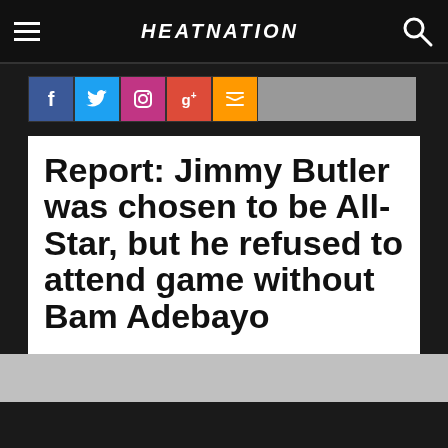HEATNATION
Report: Jimmy Butler was chosen to be All-Star, but he refused to attend game without Bam Adebayo